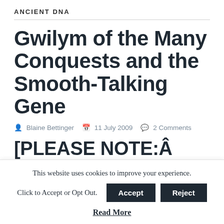ANCIENT DNA
Gwilym of the Many Conquests and the Smooth-Talking Gene
Blaine Bettinger   11 July 2009   2 Comments
[PLEASE NOTE:Â  The Onion is a satirical site meant for
This website uses cookies to improve your experience.
Click to Accept or Opt Out.
Read More